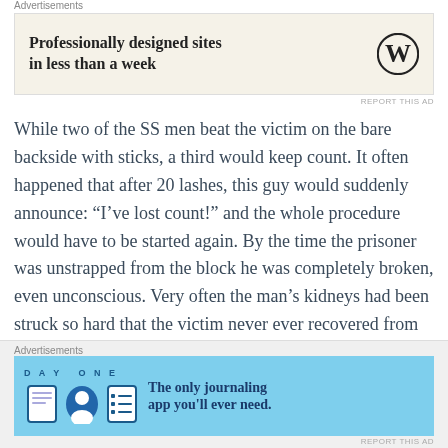Advertisements
[Figure (screenshot): WordPress advertisement: 'Professionally designed sites in less than a week' with WordPress logo]
REPORT THIS AD
While two of the SS men beat the victim on the bare backside with sticks, a third would keep count. It often happened that after 20 lashes, this guy would suddenly announce: “I’ve lost count!” and the whole procedure would have to be started again. By the time the prisoner was unstrapped from the block he was completely broken, even unconscious. Very often the man’s kidneys had been struck so hard that the victim never ever recovered from the damage. This appalling “roll-call” happened three times every week. The food, in short supply and of very
Advertisements
[Figure (screenshot): Day One journaling app advertisement: 'The only journaling app you'll ever need.']